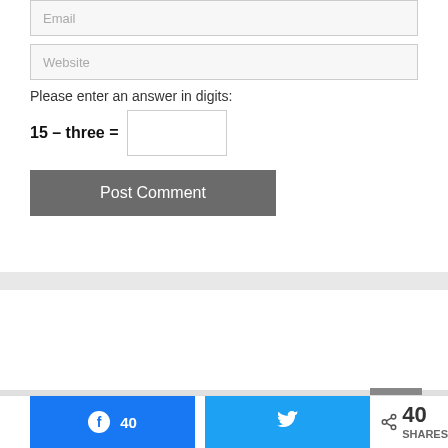Email
Website
Please enter an answer in digits:
Post Comment
40
40 SHARES